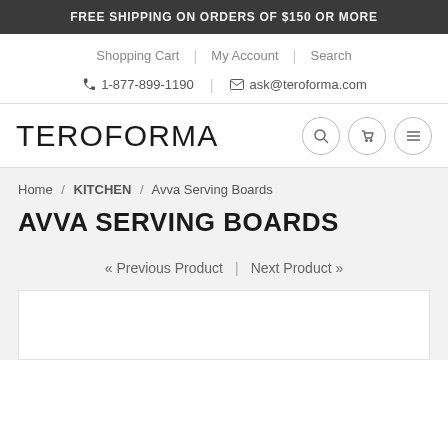FREE SHIPPING ON ORDERS OF $150 OR MORE
Shopping Cart | My Account | Search
1-877-899-1190  ask@teroforma.com
TEROFORMA
Home / KITCHEN / Avva Serving Boards
AVVA SERVING BOARDS
« Previous Product | Next Product »
[Figure (other): White product image placeholder box]